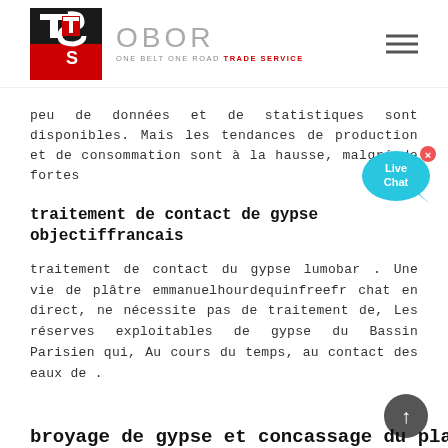[Figure (logo): OBOR Trade Service logo with TS icon in red and black and text 'OBOR ONE BELT ONE ROAD TRADE SERVICE']
peu de données et de statistiques sont disponibles. Mais les tendances de production et de consommation sont à la hausse, malgré de fortes
[Figure (illustration): Live Chat speech bubble icon in cyan/blue]
traitement de contact de gypse objectiffrancais
traitement de contact du gypse lumobar . Une vie de plâtre emmanuelhourdequinfreefr chat en direct, ne nécessite pas de traitement de, Les réserves exploitables de gypse du Bassin Parisien qui, Au cours du temps, au contact des eaux de .
broyage de gypse et concassage du platre